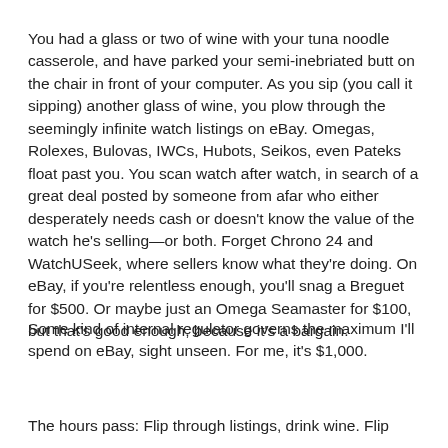You had a glass or two of wine with your tuna noodle casserole, and have parked your semi-inebriated butt on the chair in front of your computer. As you sip (you call it sipping) another glass of wine, you plow through the seemingly infinite watch listings on eBay. Omegas, Rolexes, Bulovas, IWCs, Hubots, Seikos, even Pateks float past you. You scan watch after watch, in search of a great deal posted by someone from afar who either desperately needs cash or doesn't know the value of the watch he's selling—or both. Forget Chrono 24 and WatchUSeek, where sellers know what they're doing. On eBay, if you're relentless enough, you'll snag a Breguet for $500. Or maybe just an Omega Seamaster for $100, but that's good enough, because it's a bargain.
Some kind of internal regulator governs the maximum I'll spend on eBay, sight unseen. For me, it's $1,000.
The hours pass: Flip through listings, drink wine. Flip